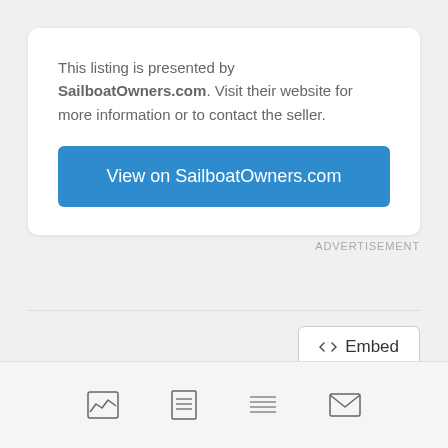This listing is presented by SailboatOwners.com. Visit their website for more information or to contact the seller.
View on SailboatOwners.com
ADVERTISEMENT
<> Embed
[Figure (infographic): Bottom navigation bar with four icons: image/chart icon, document icon, list icon, and envelope/mail icon]